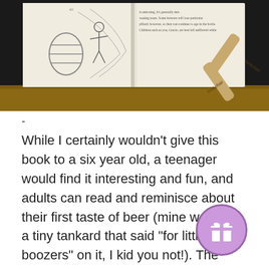[Figure (photo): A photograph of an open book propped up on a wooden stand with two bookchair holders, showing an illustrated page with a barrel, a figure, and netting, along with text on the right page.]
-
While I certainly wouldn't give this book to a six year old, a teenager would find it interesting and fun, and adults can read and reminisce about their first taste of beer (mine was from a tiny tankard that said "for little boozers" on it, I kid you not!). The story also focuses upon several morals, as the beer fairy tells Gracie "Bravery that comes from a bottle...lacks the full strength and purity of bravery that comes straight from the heart" we are provoked into thinking about the effect that Beer has on so... The book also manages to be quite informative,